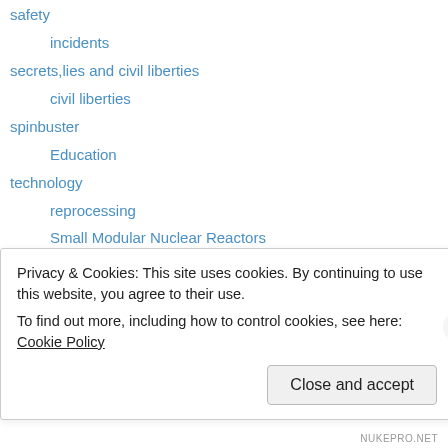safety
incidents
secrets,lies and civil liberties
civil liberties
spinbuster
Education
technology
reprocessing
Small Modular Nuclear Reactors
space travel
Uranium
wastes
– plutonium
Privacy & Cookies: This site uses cookies. By continuing to use this website, you agree to their use.
To find out more, including how to control cookies, see here: Cookie Policy
Close and accept